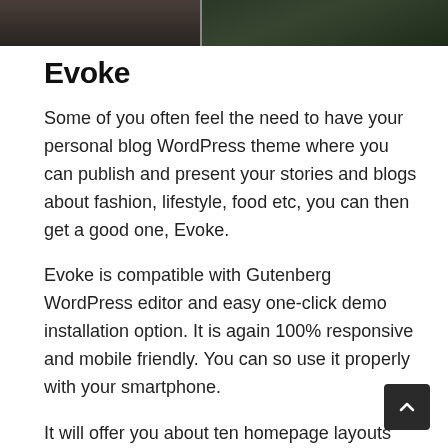[Figure (photo): Dark header image showing a wooden surface on the left and green foliage/plants on the right]
Evoke
Some of you often feel the need to have your personal blog WordPress theme where you can publish and present your stories and blogs about fashion, lifestyle, food etc, you can then get a good one, Evoke.
Evoke is compatible with Gutenberg WordPress editor and easy one-click demo installation option. It is again 100% responsive and mobile friendly. You can so use it properly with your smartphone.
It will offer you about ten homepage layouts with archives and search page. Unlimited color options Google fonts are also available so that you can customize and edit your theme as you wish.